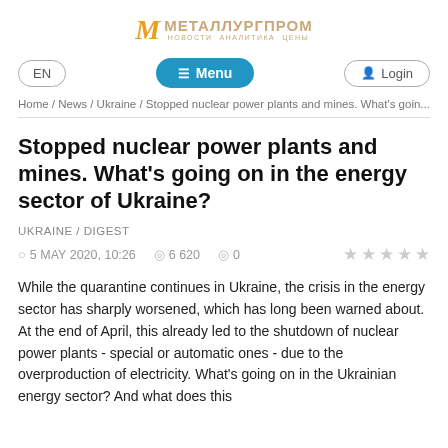МЕТАЛЛУРГПРОМ — НОВОСТИ АНАЛИТИКА ЦЕНЫ
EN  Menu  Login
Home / News / Ukraine / Stopped nuclear power plants and mines. What's goin...
Stopped nuclear power plants and mines. What's going on in the energy sector of Ukraine?
UKRAINE / DIGEST
5 MAY 2020, 10:26   6 620   0
While the quarantine continues in Ukraine, the crisis in the energy sector has sharply worsened, which has long been warned about. At the end of April, this already led to the shutdown of nuclear power plants - special or automatic ones - due to the overproduction of electricity. What's going on in the Ukrainian energy sector? And what does this